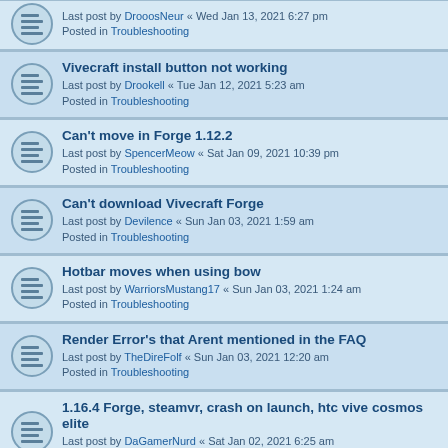Vivecraft install button not working
Last post by Drookell « Tue Jan 12, 2021 5:23 am
Posted in Troubleshooting
Can't move in Forge 1.12.2
Last post by SpencerMeow « Sat Jan 09, 2021 10:39 pm
Posted in Troubleshooting
Can't download Vivecraft Forge
Last post by Devilence « Sun Jan 03, 2021 1:59 am
Posted in Troubleshooting
Hotbar moves when using bow
Last post by WarriorsMustang17 « Sun Jan 03, 2021 1:24 am
Posted in Troubleshooting
Render Error's that Arent mentioned in the FAQ
Last post by TheDireFolf « Sun Jan 03, 2021 12:20 am
Posted in Troubleshooting
1.16.4 Forge, steamvr, crash on launch, htc vive cosmos elite
Last post by DaGamerNurd « Sat Jan 02, 2021 6:25 am
Posted in Troubleshooting
Only 1 Quarter of the Screen Shows Up
Last post by Ts3 « Mon Dec 28, 2020 4:09 am
Posted in Troubleshooting
My game lags in the headset but not on my computer (Quest) Virtual Desktop